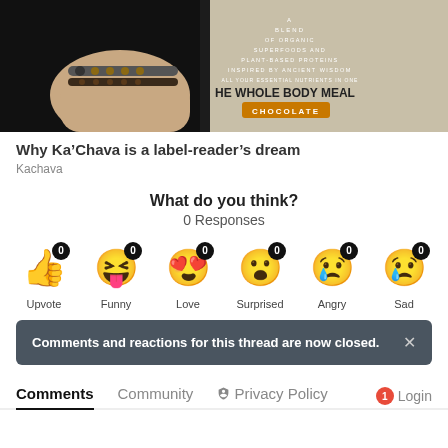[Figure (photo): Product photo showing a hand with bracelets holding a Ka'Chava Whole Body Meal Chocolate bag with text about organic superfoods and plant-based proteins inspired by ancient wisdom.]
Why Ka’Chava is a label-reader’s dream
Kachava
What do you think?
0 Responses
Upvote 0, Funny 0, Love 0, Surprised 0, Angry 0, Sad 0
Comments and reactions for this thread are now closed.
Comments  Community  Privacy Policy